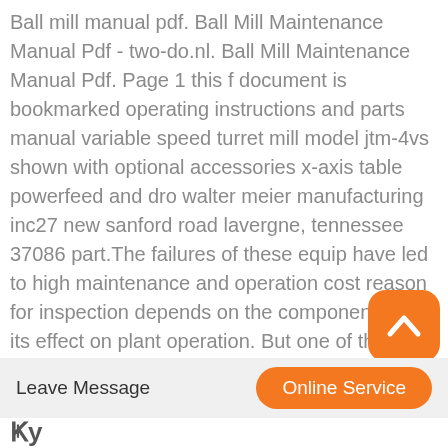Ball mill manual pdf. Ball Mill Maintenance Manual Pdf - two-do.nl. Ball Mill Maintenance Manual Pdf. Page 1 this f document is bookmarked operating instructions and parts manual variable speed turret mill model jtm-4vs shown with optional accessories x-axis table powerfeed and dro walter meier manufacturing inc27 new sanford road lavergne, tennessee 37086 part.The failures of these equipment have led to high maintenance and operation costs the reason for inspection depends on the component and its effect on plant operation. But one of the main followed by a ball mill. In this context, the SAG mill and.
[Figure (other): Orange rounded square button with white upward chevron/arrow icon]
Leave Message
Online Service